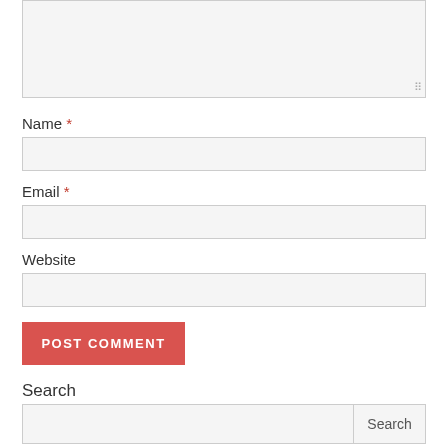[Figure (screenshot): A textarea input box (resizable) at the top of the page, partially cut off]
Name *
[Figure (screenshot): Name input field (empty, light gray background)]
Email *
[Figure (screenshot): Email input field (empty, light gray background)]
Website
[Figure (screenshot): Website input field (empty, light gray background)]
[Figure (screenshot): POST COMMENT button, red background with white uppercase text]
Search
[Figure (screenshot): Search input field with a Search button to the right]